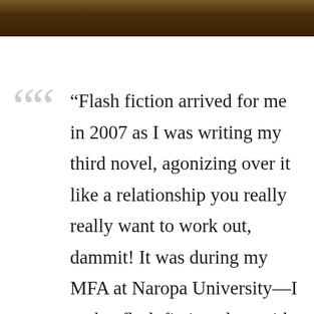[Figure (photo): A dark-toned photograph strip at the top of the page, showing what appears to be people in a warm brown/amber setting.]
“Flash fiction arrived for me in 2007 as I was writing my third novel, agonizing over it like a relationship you really really want to work out, dammit! It was during my MFA at Naropa University—I took a flash fiction class with Barbara Henning, and after so many years of writing more—talk more about this, give more description here, more backstory here, explain this more—it